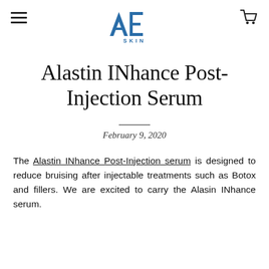[Figure (logo): AE SKIN logo — stylized blue A and E letters with SKIN written below in spaced capitals]
Alastin INhance Post-Injection Serum
February 9, 2020
The Alastin INhance Post-Injection serum is designed to reduce bruising after injectable treatments such as Botox and fillers. We are excited to carry the Alasin INhance serum.